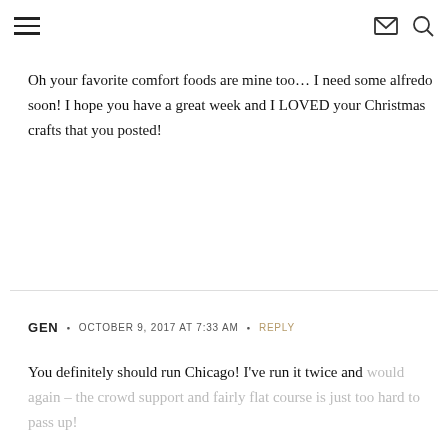≡  ✉ 🔍
Oh your favorite comfort foods are mine too… I need some alfredo soon! I hope you have a great week and I LOVED your Christmas crafts that you posted!
GEN • OCTOBER 9, 2017 AT 7:33 AM • REPLY
You definitely should run Chicago! I've run it twice and would again – the crowd support and fairly flat course is just too hard to pass up!